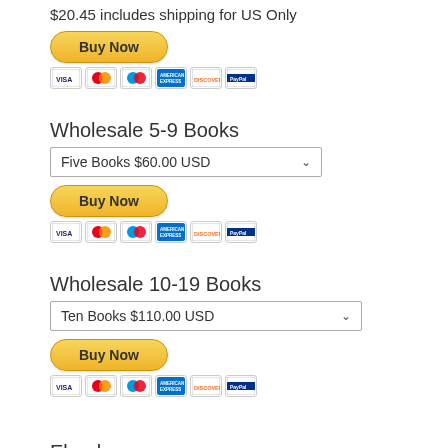$20.45 includes shipping for US Only
[Figure (other): Buy Now button (PayPal yellow rounded button)]
[Figure (other): Payment method icons: Visa, Mastercard, Maestro, American Express, Discover, Maestro]
Wholesale 5-9 Books
[Figure (other): Dropdown selector: Five Books $60.00 USD]
[Figure (other): Buy Now button (PayPal yellow rounded button)]
[Figure (other): Payment method icons: Visa, Mastercard, Maestro, American Express, Discover, Maestro]
Wholesale 10-19 Books
[Figure (other): Dropdown selector: Ten Books $110.00 USD]
[Figure (other): Buy Now button (PayPal yellow rounded button)]
[Figure (other): Payment method icons: Visa, Mastercard, Maestro, American Express, Discover, Maestro]
Ebook
[Figure (other): Dropdown selector: Mobi Version $9.99 USD]
[Figure (other): Buy Now button (PayPal yellow rounded button, partially visible)]